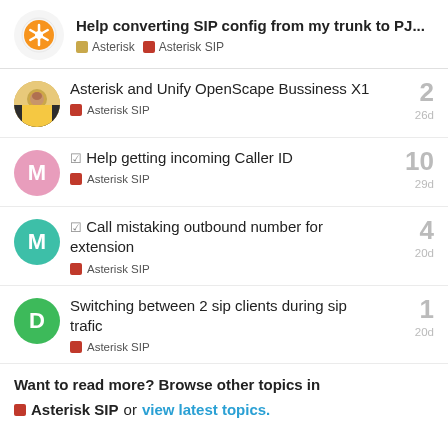Help converting SIP config from my trunk to PJ... | Asterisk | Asterisk SIP
Asterisk and Unify OpenScape Bussiness X1 | Asterisk SIP | 2 replies | 26d
✓ Help getting incoming Caller ID | Asterisk SIP | 10 replies | 29d
✓ Call mistaking outbound number for extension | Asterisk SIP | 4 replies | 20d
Switching between 2 sip clients during sip trafic | Asterisk SIP | 1 reply | 20d
Want to read more? Browse other topics in Asterisk SIP or view latest topics.